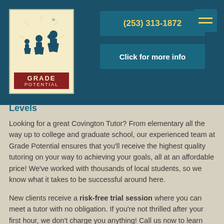[Figure (logo): Grade Potential logo with silhouette figures and red banner]
(253) 313-1872
Click for more info
Levels
Looking for a great Covington Tutor? From elementary all the way up to college and graduate school, our experienced team at Grade Potential ensures that you'll receive the highest quality tutoring on your way to achieving your goals, all at an affordable price! We've worked with thousands of local students, so we know what it takes to be successful around here.
New clients receive a risk-free trial session where you can meet a tutor with no obligation. If you're not thrilled after your first hour, we don't charge you anything! Call us now to learn more and get specific pricing.